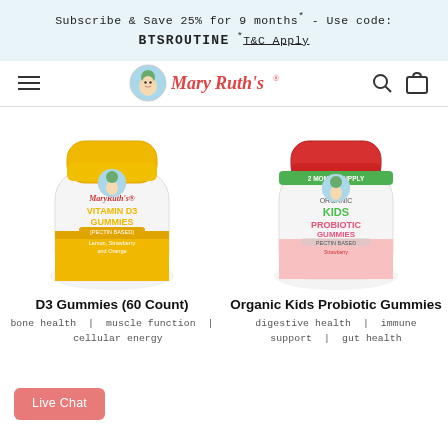Subscribe & Save 25% for 9 months* - Use code: BTSROUTINE *T&C Apply
[Figure (logo): MaryRuth's brand logo with circular portrait icon and stylized text 'MaryRuth's']
[Figure (photo): MaryRuth's Vitamin D3 Gummies bottle (60 Count) with yellow cap, white bottle, pectin-based, lemon/strawberry/orange flavors]
[Figure (photo): MaryRuth's Organic Kids Probiotic Gummies bottle with red cap, 2 month supply, pectin-based, strawberry flavor]
D3 Gummies (60 Count)
Organic Kids Probiotic Gummies
bone health  |  muscle function  |  cellular energy
digestive health  |  immune support  |  gut health
Live Chat